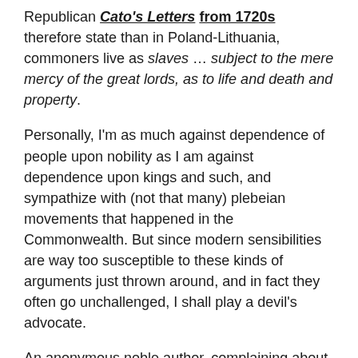Republican Cato's Letters from 1720s therefore state than in Poland-Lithuania, commoners live as slaves ... subject to the mere mercy of the great lords, as to life and death and property.
Personally, I'm as much against dependence of people upon nobility as I am against dependence upon kings and such, and sympathize with (not that many) plebeian movements that happened in the Commonwealth. But since modern sensibilities are way too susceptible to these kinds of arguments just thrown around, and in fact they often go unchallenged, I shall play a devil's advocate.
An anonymous noble author, complaining about Cossack uprising in 1648, stated that Ruthenians hated Poles so much that Ruthenia would prefer (and I am talking here about peasants) suffering the Turkish yoke or some other tyrant over living happily and peacefully in so free a